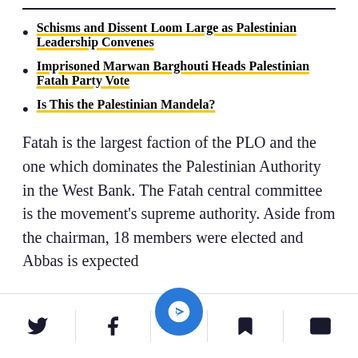Schisms and Dissent Loom Large as Palestinian Leadership Convenes
Imprisoned Marwan Barghouti Heads Palestinian Fatah Party Vote
Is This the Palestinian Mandela?
Fatah is the largest faction of the PLO and the one which dominates the Palestinian Authority in the West Bank. The Fatah central committee is the movement's supreme authority. Aside from the chairman, 18 members were elected and Abbas is expected